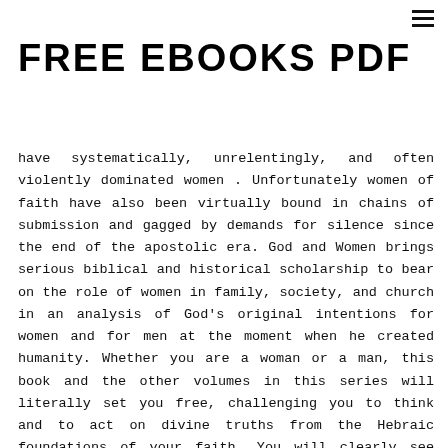≡
FREE EBOOKS PDF
have systematically, unrelentingly, and often violently dominated women . Unfortunately women of faith have also been virtually bound in chains of submission and gagged by demands for silence since the end of the apostolic era. God and Women brings serious biblical and historical scholarship to bear on the role of women in family, society, and church in an analysis of God's original intentions for women and for men at the moment when he created humanity. Whether you are a woman or a man, this book and the other volumes in this series will literally set you free, challenging you to think and to act on divine truths from the Hebraic foundations of your faith. You will clearly see God's original design and intent for women, and you will start tearing down prison walls that have deprived half of God's children of the freedom to pursue his gifts and calling in the family, in the society, and especially in the community of faith.